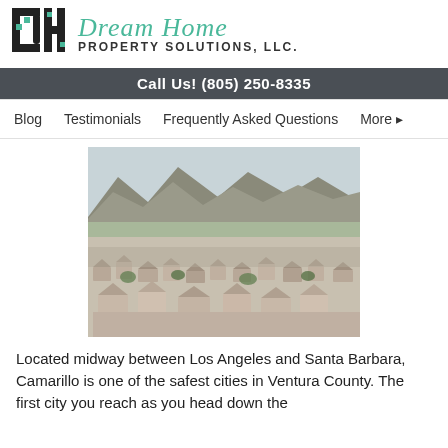[Figure (logo): Dream Home Property Solutions LLC logo with DH monogram block letters in black and green, and company name in teal script with bold sans-serif subtitle]
Call Us! (805) 250-8335
Blog   Testimonials   Frequently Asked Questions   More ▸
[Figure (photo): Aerial panoramic photo of Camarillo, California showing suburban neighborhoods with mountains in the background]
Located midway between Los Angeles and Santa Barbara, Camarillo is one of the safest cities in Ventura County. The first city you reach as you head down the